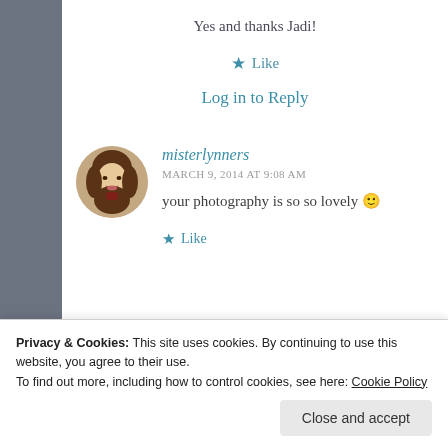Yes and thanks Jadi!
★ Like
Log in to Reply
[Figure (photo): Circular avatar photo of a young woman with brown hair, smiling, holding something small.]
misterlynners
MARCH 9, 2014 AT 9:08 AM
your photography is so so lovely 🙂
★ Like
Privacy & Cookies: This site uses cookies. By continuing to use this website, you agree to their use.
To find out more, including how to control cookies, see here: Cookie Policy
Close and accept